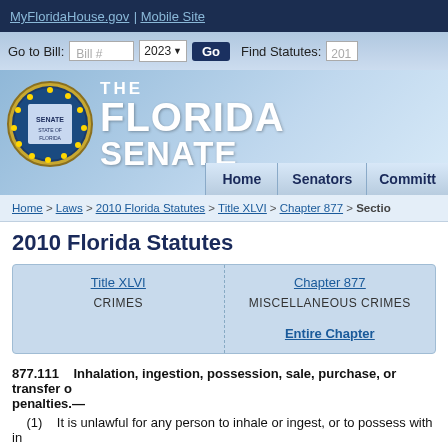MyFloridaHouse.gov | Mobile Site
[Figure (screenshot): Florida Senate website navigation bar with Go to Bill input, 2023 year selector, Go button, and Find Statutes input]
[Figure (logo): The Florida Senate logo with seal and title text, with Home, Senators, Committees navigation tabs]
Home > Laws > 2010 Florida Statutes > Title XLVI > Chapter 877 > Section
2010 Florida Statutes
| Title XLVI | Chapter 877 |
| --- | --- |
| CRIMES | MISCELLANEOUS CRIMES |
|  | Entire Chapter |
877.111    Inhalation, ingestion, possession, sale, purchase, or transfer ... penalties.—
(1)    It is unlawful for any person to inhale or ingest, or to possess with in... compound, liquid, or chemical containing toluol, hexane, trichloroethylene...